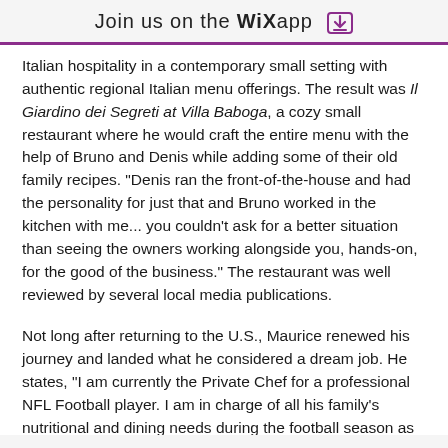Join us on the WiX app
Italian hospitality in a contemporary small setting with authentic regional Italian menu offerings. The result was Il Giardino dei Segreti at Villa Baboga, a cozy small restaurant where he would craft the entire menu with the help of Bruno and Denis while adding some of their old family recipes. "Denis ran the front-of-the-house and had the personality for just that and Bruno worked in the kitchen with me... you couldn't ask for a better situation than seeing the owners working alongside you, hands-on, for the good of the business." The restaurant was well reviewed by several local media publications.
Not long after returning to the U.S., Maurice renewed his journey and landed what he considered a dream job. He states, "I am currently the Private Chef for a professional NFL Football player. I am in charge of all his family's nutritional and dining needs during the football season as well as the off-season." This opportunity enabled him the experience of being a Private Chef and he enjoyed being able